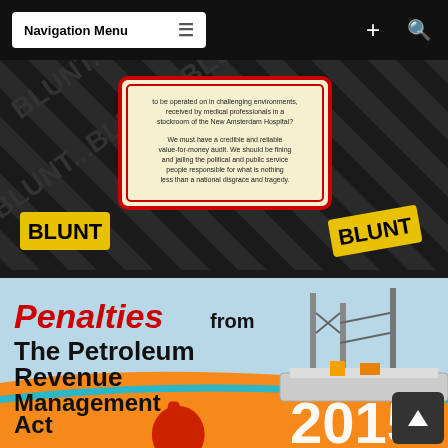Navigation Menu
[Figure (illustration): BLUNT publication graphic with diagonal black and yellow striped background, text reading 'BLUNT' in yellow, and a cream/yellow card with text about medical environments and New Amsterdam Hospital, calling for a credible audit and accountability.]
[Figure (illustration): Book/report cover graphic: 'Penalties from The Petroleum Revenue Management Act 2015' with an oil rig image, a red hand pointer icon labeled 'CLICK HERE', on an orange and teal background.]